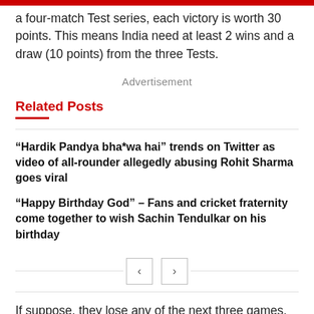a four-match Test series, each victory is worth 30 points. This means India need at least 2 wins and a draw (10 points) from the three Tests.
Advertisement
Related Posts
“Hardik Pandya bha*wa hai” trends on Twitter as video of all-rounder allegedly abusing Rohit Sharma goes viral
“Happy Birthday God” – Fans and cricket fraternity come together to wish Sachin Tendulkar on his birthday
If suppose, they lose any of the next three games, their